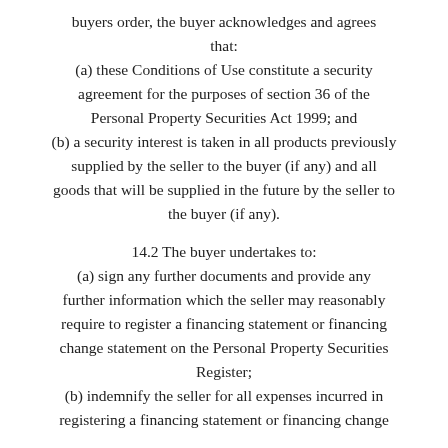buyers order, the buyer acknowledges and agrees that: (a) these Conditions of Use constitute a security agreement for the purposes of section 36 of the Personal Property Securities Act 1999; and (b) a security interest is taken in all products previously supplied by the seller to the buyer (if any) and all goods that will be supplied in the future by the seller to the buyer (if any).
14.2 The buyer undertakes to: (a) sign any further documents and provide any further information which the seller may reasonably require to register a financing statement or financing change statement on the Personal Property Securities Register; (b) indemnify the seller for all expenses incurred in registering a financing statement or financing change